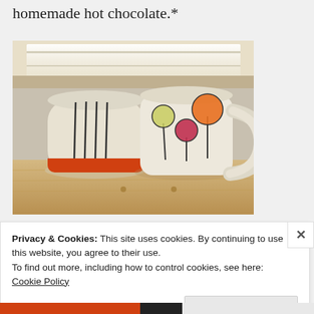homemade hot chocolate.*
[Figure (photo): Two ceramic mugs on a wooden table in front of a window. Left mug is rounded with vertical black lines and an orange base. Right mug has a handle and is decorated with balloon-on-stick designs in red, yellow-green, and orange.]
Privacy & Cookies: This site uses cookies. By continuing to use this website, you agree to their use.
To find out more, including how to control cookies, see here:
Cookie Policy
Close and accept